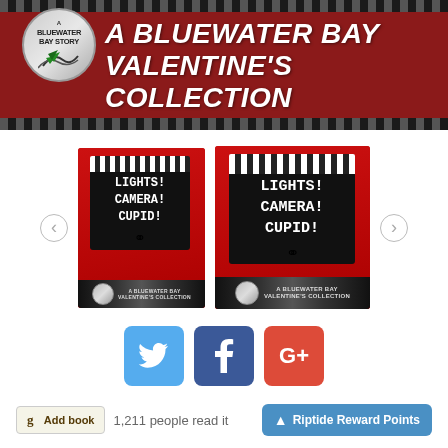[Figure (screenshot): Website banner for 'A Bluewater Bay Valentine's Collection' showing a dark filmstrip-style header with red background, a silver circular logo on the left reading 'A Bluewater Bay Story', and the title text in white on the right]
[Figure (screenshot): Two book covers side by side for 'Lights! Camera! Cupid!' — a Bluewater Bay Valentine's Collection. Both covers show hands holding a film clapper board with white chalk text against a red background with a couple in the background. Navigation arrows on left and right sides.]
[Figure (infographic): Social media sharing buttons: Twitter (blue bird icon), Facebook (blue f icon), Google+ (red G+ icon)]
1,211 people read it
[Figure (screenshot): Goodreads 'Add book' button and Riptide Reward Points blue button]